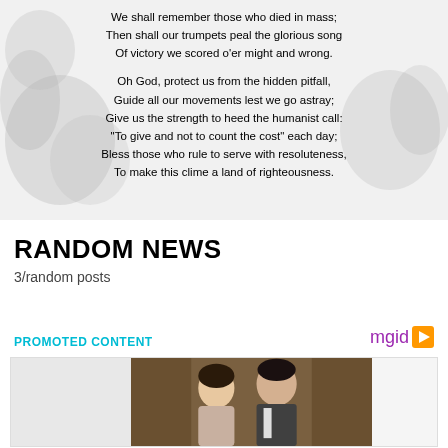We shall remember those who died in mass;
Then shall our trumpets peal the glorious song
Of victory we scored o'er might and wrong.

Oh God, protect us from the hidden pitfall,
Guide all our movements lest we go astray;
Give us the strength to heed the humanist call:
"To give and not to count the cost" each day;
Bless those who rule to serve with resoluteness,
To make this clime a land of righteousness.
RANDOM NEWS
3/random posts
PROMOTED CONTENT
[Figure (photo): Photo of a couple (man and woman) at a formal event, in front of a curtained background. mgid logo visible.]